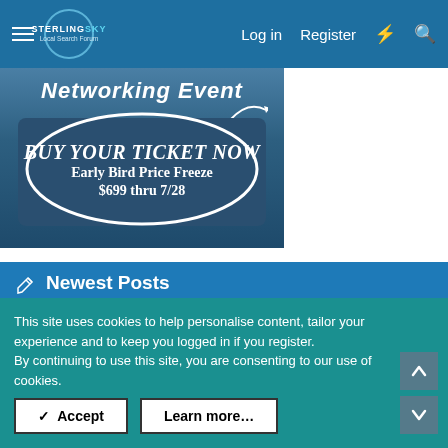Sterling Sky Local Search Forum | Log in | Register
[Figure (photo): Banner image showing 'Networking Event' text with an oval-shaped callout reading 'Buy Your Ticket Now - Early Bird Price Freeze $699 thru 7/28']
Newest Posts
Google has Disabled a business that does not seem to have anything wrong.
Latest: Colan Nielsen · Yesterday at 8:50 PM
Help & Support for Google Local
This site uses cookies to help personalise content, tailor your experience and to keep you logged in if you register.
By continuing to use this site, you are consenting to our use of cookies.